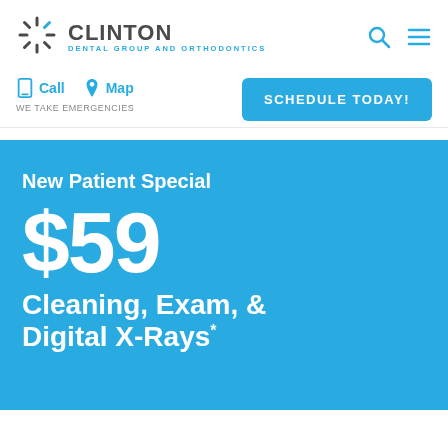[Figure (logo): Clinton Dental Group and Orthodontics logo with starburst icon]
Call   Map
WE TAKE EMERGENCIES
SCHEDULE TODAY!
New Patient Special
$59
Cleaning, Exam, & Digital X-Rays*